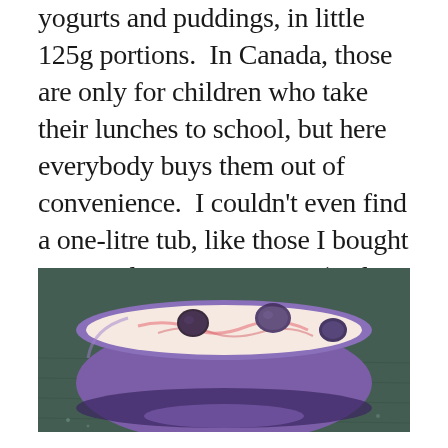yogurts and puddings, in little 125g portions. In Canada, those are only for children who take their lunches to school, but here everybody buys them out of convenience. I couldn't even find a one-litre tub, like those I bought in Canada to save money (and
[Figure (photo): A purple ceramic bowl filled with white yogurt and dark berries (blueberries), with red swirls visible, photographed from a slight angle on a dark green textured surface.]